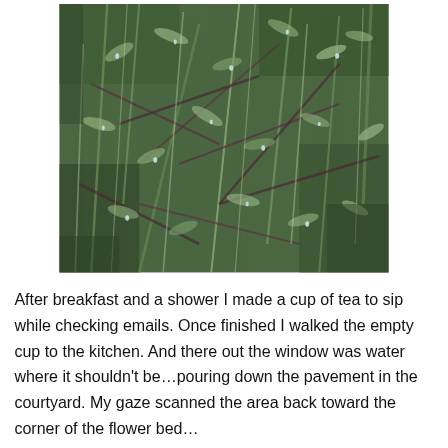[Figure (photo): Close-up photograph of grass and plants with water droplets, showing green and brownish-purple stems and leaves tangled together, with visible moisture on the foliage.]
After breakfast and a shower I made a cup of tea to sip while checking emails. Once finished I walked the empty cup to the kitchen. And there out the window was water where it shouldn't be…pouring down the pavement in the courtyard. My gaze scanned the area back toward the corner of the flower bed…